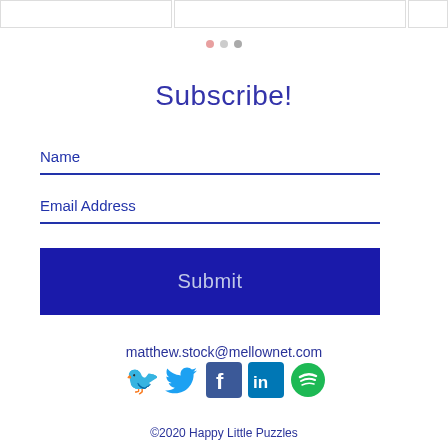[Figure (other): Partial top edge of card carousel showing three partially visible cards]
[Figure (other): Three dot pagination indicators (pink, gray, dark gray)]
Subscribe!
Name
Email Address
Submit
matthew.stock@mellownet.com
[Figure (other): Social media icons: Twitter (blue bird), Facebook (blue F), LinkedIn (blue in), Spotify (green circle)]
©2020 Happy Little Puzzles